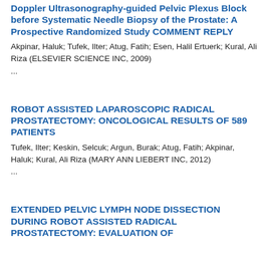Doppler Ultrasonography-guided Pelvic Plexus Block before Systematic Needle Biopsy of the Prostate: A Prospective Randomized Study COMMENT REPLY
Akpinar, Haluk; Tufek, Ilter; Atug, Fatih; Esen, Halil Ertuerk; Kural, Ali Riza (ELSEVIER SCIENCE INC, 2009)
...
ROBOT ASSISTED LAPAROSCOPIC RADICAL PROSTATECTOMY: ONCOLOGICAL RESULTS OF 589 PATIENTS
Tufek, Ilter; Keskin, Selcuk; Argun, Burak; Atug, Fatih; Akpinar, Haluk; Kural, Ali Riza (MARY ANN LIEBERT INC, 2012)
...
EXTENDED PELVIC LYMPH NODE DISSECTION DURING ROBOT ASSISTED RADICAL PROSTATECTOMY: EVALUATION OF